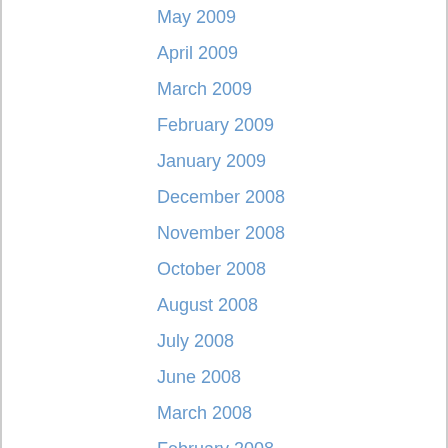May 2009
April 2009
March 2009
February 2009
January 2009
December 2008
November 2008
October 2008
August 2008
July 2008
June 2008
March 2008
February 2008